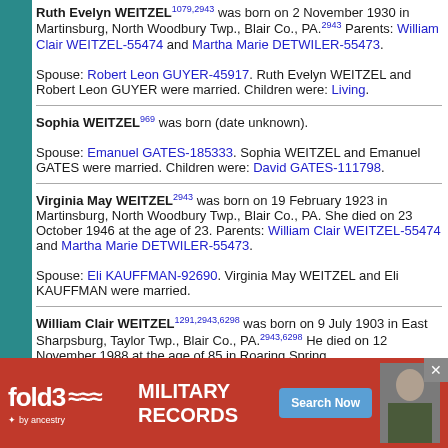Ruth Evelyn WEITZEL1079,2943 was born on 2 November 1930 in Martinsburg, North Woodbury Twp., Blair Co., PA.2943 Parents: William Clair WEITZEL-55474 and Martha Marie DETWILER-55473. Spouse: Robert Leon GUYER-45917. Ruth Evelyn WEITZEL and Robert Leon GUYER were married. Children were: Living.
Sophia WEITZEL969 was born (date unknown). Spouse: Emanuel GATES-185333. Sophia WEITZEL and Emanuel GATES were married. Children were: David GATES-111798.
Virginia May WEITZEL2943 was born on 19 February 1923 in Martinsburg, North Woodbury Twp., Blair Co., PA. She died on 23 October 1946 at the age of 23. Parents: William Clair WEITZEL-55474 and Martha Marie DETWILER-55473. Spouse: Eli KAUFFMAN-92690. Virginia May WEITZEL and Eli KAUFFMAN were married.
William Clair WEITZEL1291,2943,6298 was born on 9 July 1903 in East Sharpsburg, Taylor Twp., Blair Co., PA.2943,6298 He died on 12 November 1988 at the age of 85 in Roaring Spring,6298 and
[Figure (advertisement): Fold3 Military Records advertisement banner by Ancestry with Search Now button]